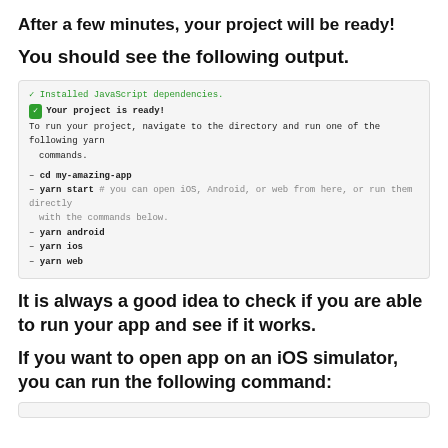After a few minutes, your project will be ready!
You should see the following output.
[Figure (screenshot): Terminal output showing: checkmark 'Installed JavaScript dependencies.', green checkbox 'Your project is ready!', navigation instructions, and yarn commands (cd my-amazing-app, yarn start, yarn android, yarn ios, yarn web)]
It is always a good idea to check if you are able to run your app and see if it works.
If you want to open app on an iOS simulator, you can run the following command:
[Figure (screenshot): Bottom partial code box]